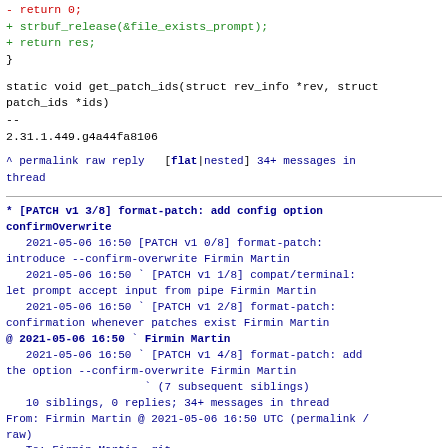-       return 0;
+       strbuf_release(&file_exists_prompt);
+       return res;
 }
static void get_patch_ids(struct rev_info *rev, struct patch_ids *ids)
--
2.31.1.449.g4a44fa8106
^ permalink raw reply  [flat|nested] 34+ messages in thread
* [PATCH v1 3/8] format-patch: add config option confirmOverwrite
   2021-05-06 16:50 [PATCH v1 0/8] format-patch: introduce --confirm-overwrite Firmin Martin
   2021-05-06 16:50 ` [PATCH v1 1/8] compat/terminal: let prompt accept input from pipe Firmin Martin
   2021-05-06 16:50 ` [PATCH v1 2/8] format-patch: confirmation whenever patches exist Firmin Martin
@ 2021-05-06 16:50 ` Firmin Martin
   2021-05-06 16:50 ` [PATCH v1 4/8] format-patch: add the option --confirm-overwrite Firmin Martin
                     ` (7 subsequent siblings)
   10 siblings, 0 replies; 34+ messages in thread
From: Firmin Martin @ 2021-05-06 16:50 UTC (permalink / raw)
   To: Firmin Martin, git